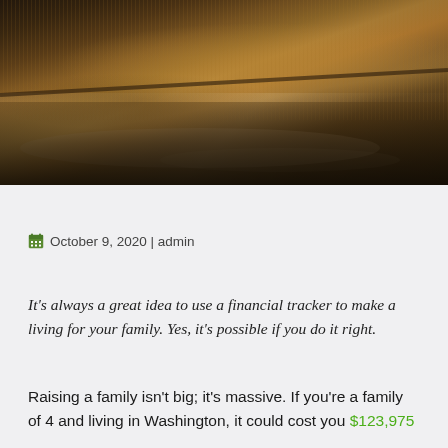[Figure (photo): Close-up photograph of a brown/tan shaggy rug on a wooden floor, shot at an angle showing the rug edge and laminate flooring underneath with light reflections]
October 9, 2020 | admin
It's always a great idea to use a financial tracker to make a living for your family. Yes, it's possible if you do it right.
Raising a family isn't big; it's massive. If you're a family of 4 and living in Washington, it could cost you $123,975